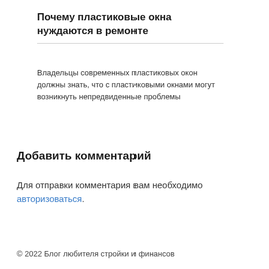Почему пластиковые окна нуждаются в ремонте
Владельцы современных пластиковых окон должны знать, что с пластиковыми окнами могут возникнуть непредвиденные проблемы
Добавить комментарий
Для отправки комментария вам необходимо авторизоваться.
© 2022 Блог любителя стройки и финансов